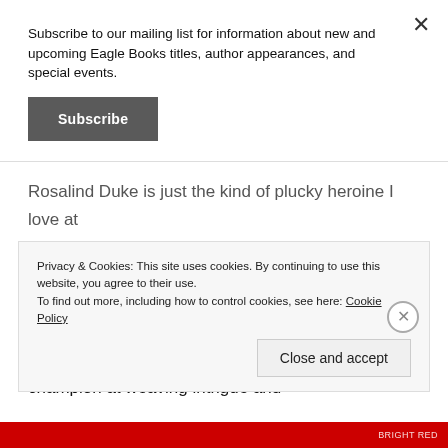Subscribe to our mailing list for information about new and upcoming Eagle Books titles, author appearances, and special events.
Subscribe
Rosalind Duke is just the kind of plucky heroine I love at the centre of my historical fiction. She’s happy to step outside the social norms of her time and she keeps a cool head about her in thrilling circumstances. And there are plenty to be found in this fast-paced adventure. Sophie Masson is a champion at weaving intrigue and
Privacy & Cookies: This site uses cookies. By continuing to use this website, you agree to their use.
To find out more, including how to control cookies, see here: Cookie Policy
Close and accept